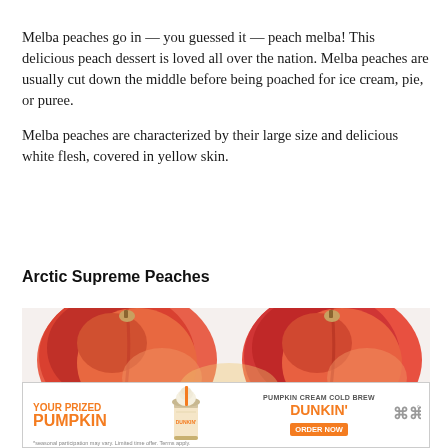Melba peaches go in — you guessed it — peach melba! This delicious peach dessert is loved all over the nation. Melba peaches are usually cut down the middle before being poached for ice cream, pie, or puree.

Melba peaches are characterized by their large size and delicious white flesh, covered in yellow skin.
Arctic Supreme Peaches
[Figure (photo): Close-up photo of two large red-orange peaches side by side against a white background.]
[Figure (screenshot): Advertisement banner: 'YOUR PRIZED PUMPKIN' in orange text on left, a Dunkin' Pumpkin Cream Cold Brew drink in the center, 'PUMPKIN CREAM COLD BREW DUNKIN' ORDER NOW' on right with Millennial logo.]